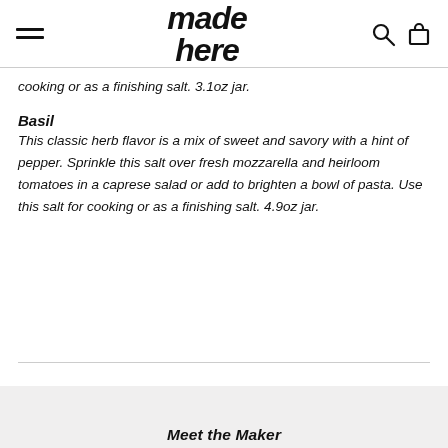made here
cooking or as a finishing salt. 3.1oz jar.
Basil
This classic herb flavor is a mix of sweet and savory with a hint of pepper. Sprinkle this salt over fresh mozzarella and heirloom tomatoes in a caprese salad or add to brighten a bowl of pasta. Use this salt for cooking or as a finishing salt. 4.9oz jar.
shipping + return policy
Meet the Maker